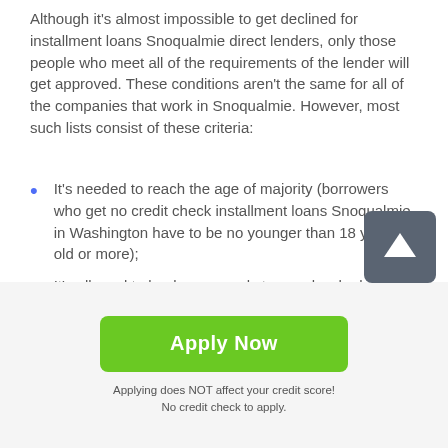Although it's almost impossible to get declined for installment loans Snoqualmie direct lenders, only those people who meet all of the requirements of the lender will get approved. These conditions aren't the same for all of the companies that work in Snoqualmie. However, most such lists consist of these criteria:
It's needed to reach the age of majority (borrowers who get no credit check installment loans Snoqualmie in Washington have to be no younger than 18 years old or more);
It's allowed to lend money only to people who have active bank accounts (these accounts don't have to be new ones, to be approved, it's recommended to use
[Figure (other): Green 'Apply Now' button with rounded corners]
Applying does NOT affect your credit score!
No credit check to apply.